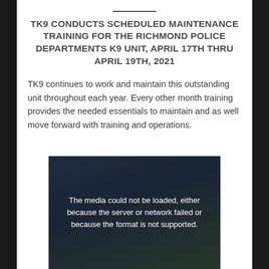TK9 CONDUCTS SCHEDULED MAINTENANCE TRAINING FOR THE RICHMOND POLICE DEPARTMENTS K9 UNIT, APRIL 17TH THRU APRIL 19TH, 2021
TK9 continues to work and maintain this outstanding unit throughout each year. Every other month training provides the needed essentials to maintain and as well move forward with training and operations.
[Figure (photo): Dark video/media placeholder with error message: 'The media could not be loaded, either because the server or network failed or because the format is not supported.' overlaid on a dark background with trees visible.]